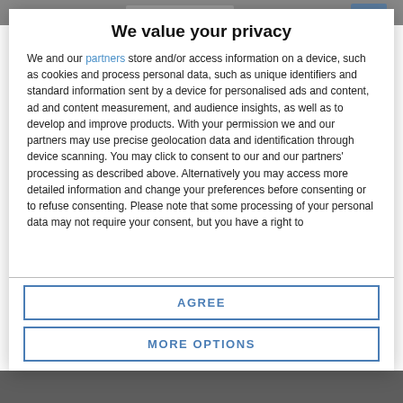[Figure (screenshot): Top portion of a webpage visible behind a privacy consent modal dialog]
We value your privacy
We and our partners store and/or access information on a device, such as cookies and process personal data, such as unique identifiers and standard information sent by a device for personalised ads and content, ad and content measurement, and audience insights, as well as to develop and improve products. With your permission we and our partners may use precise geolocation data and identification through device scanning. You may click to consent to our and our partners' processing as described above. Alternatively you may access more detailed information and change your preferences before consenting or to refuse consenting. Please note that some processing of your personal data may not require your consent, but you have a right to
AGREE
MORE OPTIONS
[Figure (photo): Bottom portion of a webpage photo visible behind the modal]